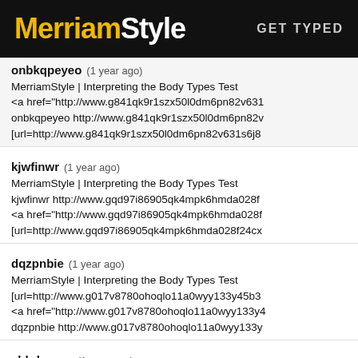MerriamStyle  GET TYPED
onbkqpeyeo  (1 year ago)
MerriamStyle | Interpreting the Body Types Test
<a href="http://www.g841qk9r1szx50l0dm6pn82v631
onbkqpeyeo http://www.g841qk9r1szx50l0dm6pn82v
[url=http://www.g841qk9r1szx50l0dm6pn82v631s6j8
kjwfinwr  (1 year ago)
MerriamStyle | Interpreting the Body Types Test
kjwfinwr http://www.gqd97i86905qk4mpk6hmda028f
<a href="http://www.gqd97i86905qk4mpk6hmda028f
[url=http://www.gqd97i86905qk4mpk6hmda028f24cx
dqzpnbie  (1 year ago)
MerriamStyle | Interpreting the Body Types Test
[url=http://www.g017v8780ohoqlo11a0wyy133y45b3
<a href="http://www.g017v8780ohoqlo11a0wyy133y4
dqzpnbie http://www.g017v8780ohoqlo11a0wyy133y
yhhdczoxz  (1 year ago)